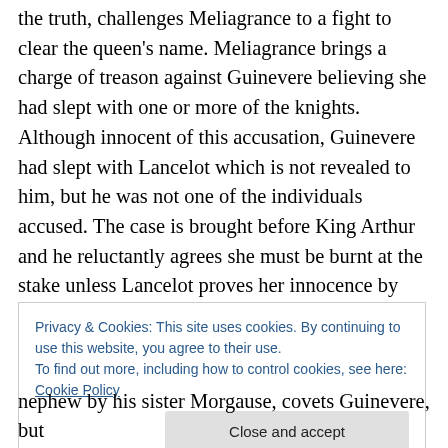the truth, challenges Meliagrance to a fight to clear the queen's name. Meliagrance brings a charge of treason against Guinevere believing she had slept with one or more of the knights. Although innocent of this accusation, Guinevere had slept with Lancelot which is not revealed to him, but he was not one of the individuals accused. The case is brought before King Arthur and he reluctantly agrees she must be burnt at the stake unless Lancelot proves her innocence by defeating Meliagrance. In the resulting duel Lancelot slays Meliagrance proving her innocence of the charges brought against her and freeing
Privacy & Cookies: This site uses cookies. By continuing to use this website, you agree to their use.
To find out more, including how to control cookies, see here: Cookie Policy
Close and accept
nephew by his sister Morgause, covets Guinevere, but